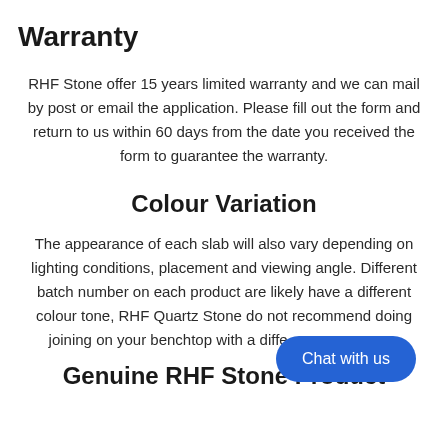Warranty
RHF Stone offer 15 years limited warranty and we can mail by post or email the application. Please fill out the form and return to us within 60 days from the date you received the form to guarantee the warranty.
Colour Variation
The appearance of each slab will also vary depending on lighting conditions, placement and viewing angle. Different batch number on each product are likely have a different colour tone, RHF Quartz Stone do not recommend doing joining on your benchtop with a differ... r.
Genuine RHF Stone Product
[Figure (other): Chat with us button overlay]